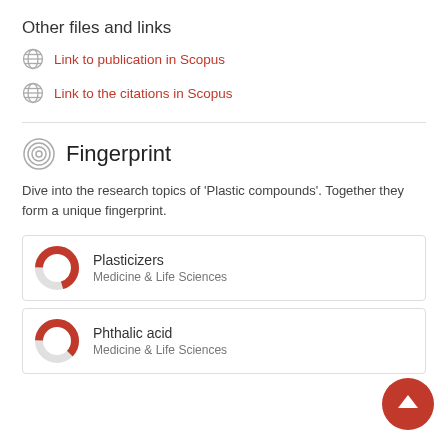Other files and links
Link to publication in Scopus
Link to the citations in Scopus
Fingerprint
Dive into the research topics of 'Plastic compounds'. Together they form a unique fingerprint.
Plasticizers
Medicine & Life Sciences
Phthalic acid
Medicine & Life Sciences